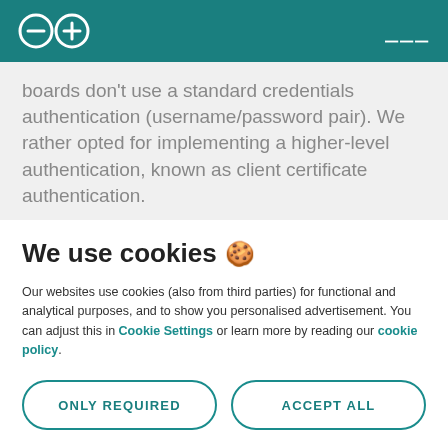Arduino logo and navigation header
boards don't use a standard credentials authentication (username/password pair). We rather opted for implementing a higher-level authentication, known as client certificate authentication.
We use cookies 🍪
Our websites use cookies (also from third parties) for functional and analytical purposes, and to show you personalised advertisement. You can adjust this in Cookie Settings or learn more by reading our cookie policy.